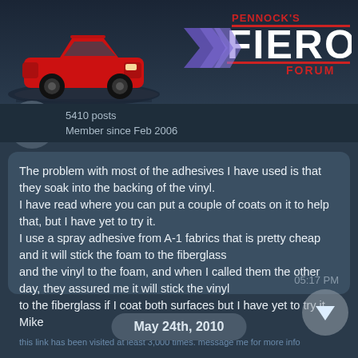[Figure (screenshot): Pennock's Fiero Forum header with red Fiero car illustration and forum logo]
5410 posts
Member since Feb 2006
The problem with most of the adhesives I have used is that they soak into the backing of the vinyl.
I have read where you can put a couple of coats on it to help that, but I have yet to try it.
I use a spray adhesive from A-1 fabrics that is pretty cheap and it will stick the foam to the fiberglass and the vinyl to the foam, and when I called them the other day, they assured me it will stick the vinyl to the fiberglass if I coat both surfaces but I have yet to try it.
Mike
05:17 PM
May 24th, 2010